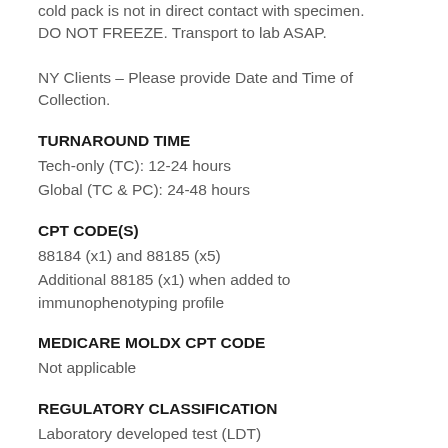cold pack is not in direct contact with specimen. DO NOT FREEZE. Transport to lab ASAP.
NY Clients – Please provide Date and Time of Collection.
TURNAROUND TIME
Tech-only (TC): 12-24 hours
Global (TC & PC): 24-48 hours
CPT CODE(S)
88184 (x1) and 88185 (x5)
Additional 88185 (x1) when added to immunophenotyping profile
MEDICARE MOLDX CPT CODE
Not applicable
REGULATORY CLASSIFICATION
Laboratory developed test (LDT)
ORDERING OPTION